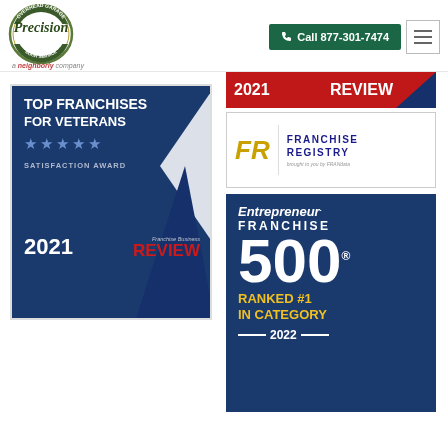[Figure (logo): Precision Overhead Garage Door Service logo - circular badge with green and gold text, 'a neighborly company' below]
[Figure (logo): Call button: green button with phone icon and text 'Call 877-301-7474']
[Figure (logo): Hamburger menu icon button]
[Figure (logo): Partial top of Franchise Business Review 2021 badge showing red banner with '2021' and 'REVIEW' text]
[Figure (logo): Top Franchises for Veterans Satisfaction Award 2021 - Franchise Business Review badge, dark blue background with mountain graphic, stars, and red REVIEW text]
[Figure (logo): Franchise Registry badge - white with FR letters in gold, FRANCHISE REGISTRY text in dark blue, brought to you by FRANdata]
[Figure (logo): Entrepreneur Franchise 500 Ranked #1 In Category 2022 badge - dark navy background with large 500 number and gold text]